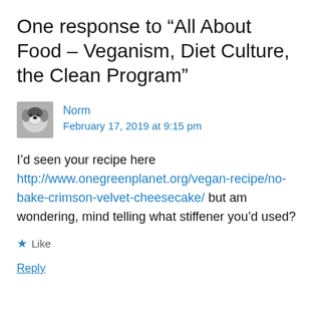One response to “All About Food – Veganism, Diet Culture, the Clean Program”
[Figure (photo): Small avatar photo of a black and white dog (Dalmatian-like)]
Norm
February 17, 2019 at 9:15 pm
I’d seen your recipe here http://www.onegreenplanet.org/vegan-recipe/no-bake-crimson-velvet-cheesecake/ but am wondering, mind telling what stiffener you’d used?
★ Like
Reply